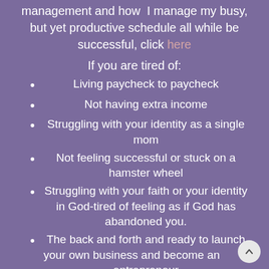management and how I manage my busy, but yet productive schedule all while be successful, click here
If you are tired of:
Living paycheck to paycheck
Not having extra income
Struggling with your identity as a single mom
Not feeling successful or stuck on a hamster wheel
Struggling with your faith or your identity in God-tired of feeling as if God has abandoned you.
The back and forth and ready to launch your own business and become an entrepreneur